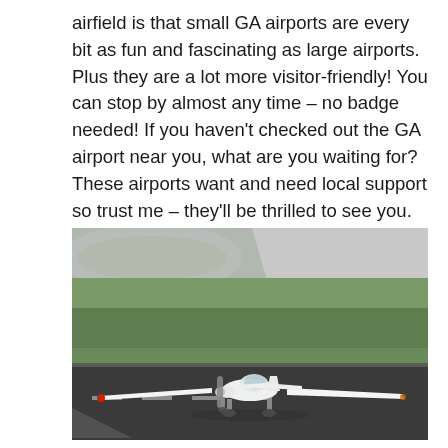airfield is that small GA airports are every bit as fun and fascinating as large airports. Plus they are a lot more visitor-friendly! You can stop by almost any time – no badge needed! If you haven't checked out the GA airport near you, what are you waiting for? These airports want and need local support so trust me – they'll be thrilled to see you. And I promise you'll be glad you went.
[Figure (photo): A small white general aviation propeller aircraft (Piper-style low-wing monoplane) taxiing on a runway at a small airfield. Green grass infield visible in background, overcast sky, dark asphalt runway.]